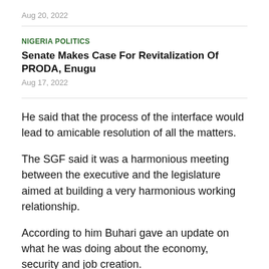Aug 20, 2022
NIGERIA POLITICS
Senate Makes Case For Revitalization Of PRODA, Enugu
Aug 17, 2022
He said that the process of the interface would lead to amicable resolution of all the matters.
The SGF said it was a harmonious meeting between the executive and the legislature aimed at building a very harmonious working relationship.
According to him Buhari gave an update on what he was doing about the economy, security and job creation.
He explained that the movement for a resolution would...